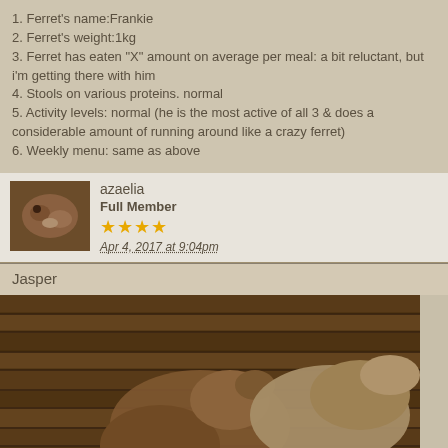1. Ferret's name:Frankie
2. Ferret's weight:1kg
3. Ferret has eaten "X" amount on average per meal: a bit reluctant, but i'm getting there with him
4. Stools on various proteins. normal
5. Activity levels: normal (he is the most active of all 3 & does a considerable amount of running around like a crazy ferret)
6. Weekly menu: same as above
azaelia
Full Member
★★★★
Apr 4, 2017 at 9:04pm
Jasper
[Figure (photo): Two ferrets on a wooden floor, one light-colored and one darker, huddled together]
[Figure (screenshot): BitLife - Life Simulator advertisement banner with red background and Install button]